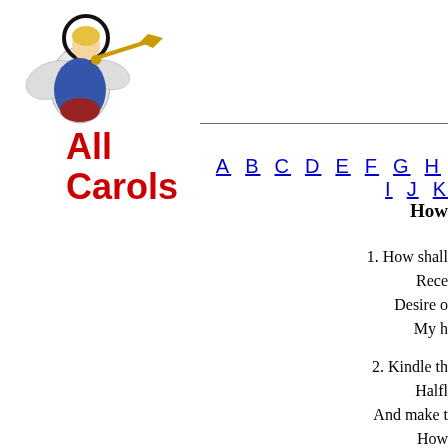[Figure (logo): AllCarols website logo with angel blowing trumpet and red bold text 'All Carols']
A B C D E F G H I J ...
How ...
1. How shall
   Rece
   Desire o
   My h
2. Kindle th
   Halfl
   And make t
   How
3. Her buddi
   Thy